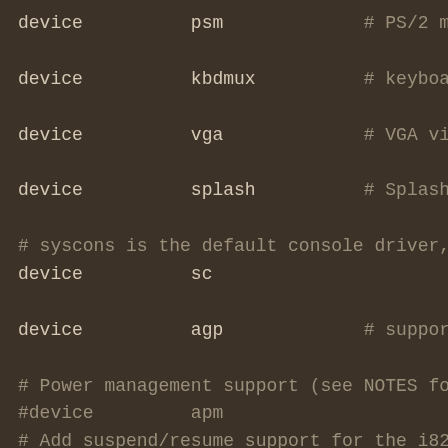device          psm             # PS/2 mouse
device          kbdmux          # keyboard multi
device          vga             # VGA video card dr
device          splash          # Splash screen
# syscons is the default console driver, res
device          sc
device          agp             # support several A
# Power management support (see NOTES for mo
#device         apm
# Add suspend/resume support for the i8254.
device          pmtimer
# PCCARD (PCMCIA) support
# PCMCIA and cardbus bridge support
#device         cbb             # cardbus (yenta)